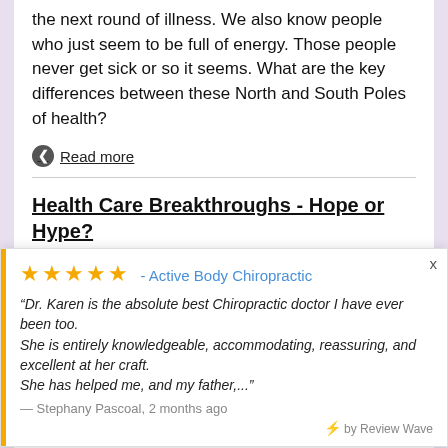the next round of illness. We also know people who just seem to be full of energy. Those people never get sick or so it seems. What are the key differences between these North and South Poles of health?
Read more
Health Care Breakthroughs - Hope or Hype?
Category: Newsletter Library, Illness Prevention
Health care breakthroughs are big business. We know this because such news is reported in th...
[Figure (other): Review popup widget showing 5 gold stars, Active Body Chiropractic label, and a testimonial quote from Stephany Pascoal: 'Dr. Karen is the absolute best Chiropractic doctor I have ever been too. She is entirely knowledgeable, accommodating, reassuring, and excellent at her craft. She has helped me, and my father,...' — Stephany Pascoal, 2 months ago. Powered by Review Wave.]
Let the Flu Go Around You...